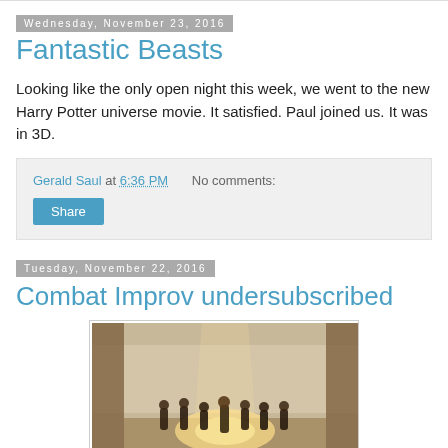Wednesday, November 23, 2016
Fantastic Beasts
Looking like the only open night this week, we went to the new Harry Potter universe movie. It satisfied. Paul joined us. It was in 3D.
Gerald Saul at 6:36 PM   No comments:
Share
Tuesday, November 22, 2016
Combat Improv undersubscribed
[Figure (photo): Stage photo showing performers on a stage with curtains and a spotlight from above, with multiple people standing in a row at the bottom.]